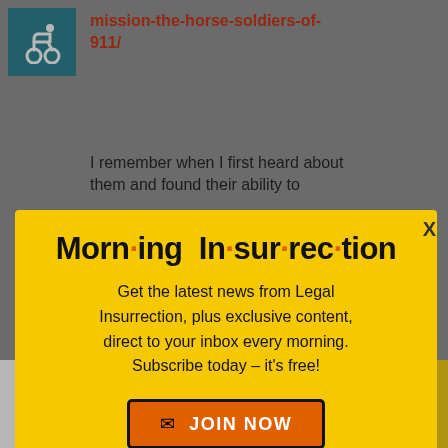mission-the-horse-soldiers-of-911/
I remember when I first heard about them and found their ability to
[Figure (screenshot): Modal popup with yellow background titled 'Morning Insurrection' newsletter signup with JOIN NOW button]
Today, btw, is the anniversary of the
[Figure (infographic): Advertisement banner: THE PERSPECTIVE - SEE WHAT YOU'RE MISSING - READ MORE]